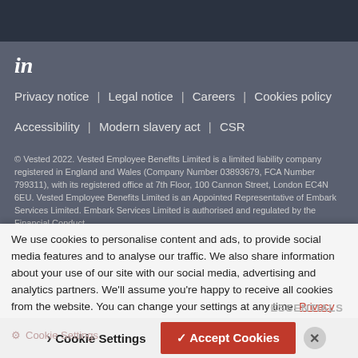[Figure (logo): LinkedIn 'in' logo icon in white on dark gray background]
Privacy notice  |  Legal notice  |  Careers  |  Cookies policy
Accessibility  |  Modern slavery act  |  CSR
© Vested 2022. Vested Employee Benefits Limited is a limited liability company registered in England and Wales (Company Number 03893679, FCA Number 799311), with its registered office at 7th Floor, 100 Cannon Street, London EC4N 6EU. Vested Employee Benefits Limited is an Appointed Representative of Embark Services Limited. Embark Services Limited is authorised and regulated by the Financial Conduct...
We use cookies to personalise content and ads, to provide social media features and to analyse our traffic. We also share information about your use of our site with our social media, advertising and analytics partners. We'll assume you're happy to receive all cookies from the website. You can change your settings at any time. Privacy notice
ESSENTIALS
Cookie Settings
✓ Accept Cookies
Cookie Settings